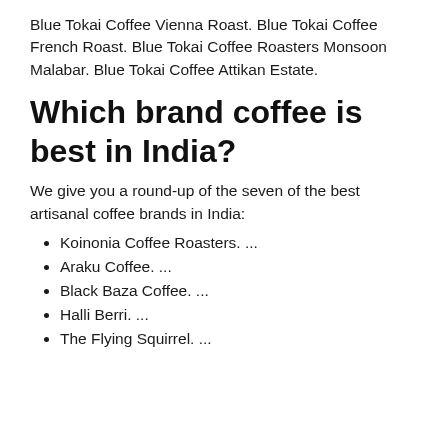Blue Tokai Coffee Vienna Roast. Blue Tokai Coffee French Roast. Blue Tokai Coffee Roasters Monsoon Malabar. Blue Tokai Coffee Attikan Estate.
Which brand coffee is best in India?
We give you a round-up of the seven of the best artisanal coffee brands in India:
Koinonia Coffee Roasters. ...
Araku Coffee. ...
Black Baza Coffee. ...
Halli Berri. ...
The Flying Squirrel. ...